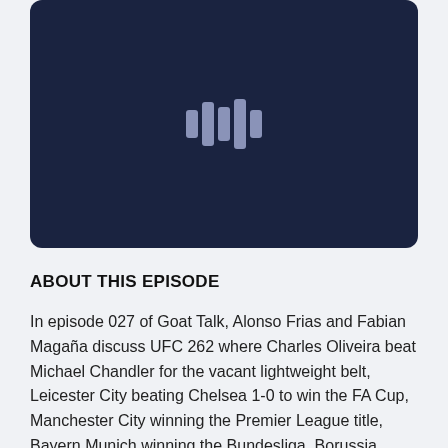[Figure (other): Dark navy blue podcast cover image with a waveform/audio bars icon centered in the image]
ABOUT THIS EPISODE
In episode 027 of Goat Talk, Alonso Frias and Fabian Magaña discuss UFC 262 where Charles Oliveira beat Michael Chandler for the vacant lightweight belt, Leicester City beating Chelsea 1-0 to win the FA Cup, Manchester City winning the Premier League title, Bayern Munich winning the Bundesliga, Borussia Dortmund winning the DFB Pokal, and Gerardo Martino's Mexico National Team call-ups for the Concacaf Nations League, among other topics.